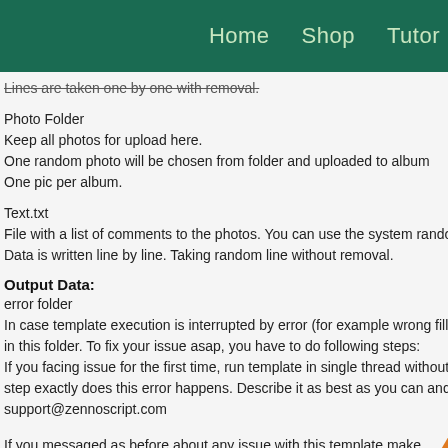Home   Shop   Tutor
Lines are taken one by one with removal.
Photo Folder
Keep all photos for upload here.
One random photo will be chosen from folder and uploaded to album
One pic per album.
Text.txt
File with a list of comments to the photos. You can use the system randomization tex
Data is written line by line. Taking random line without removal.
Output Data:
error folder
In case template execution is interrupted by error (for example wrong filled files etc),
in this folder. To fix your issue asap, you have to do following steps:
If you facing issue for the first time, run template in single thread without proxy and c
step exactly does this error happens. Describe it as best as you can and send this fo
support@zennoscript.com
If you messaged as before about any issue with this template make sure to delete co
and sending report to us.
By doing these steps you really speed up process of finding the solution for your issu.
Input settings Zennoposter Template: